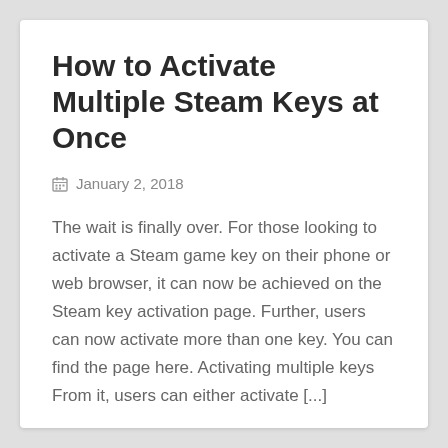How to Activate Multiple Steam Keys at Once
January 2, 2018
The wait is finally over. For those looking to activate a Steam game key on their phone or web browser, it can now be achieved on the Steam key activation page. Further, users can now activate more than one key. You can find the page here. Activating multiple keys From it, users can either activate [...]
READ MORE